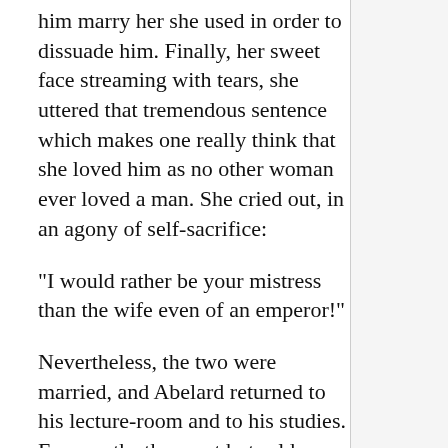him marry her she used in order to dissuade him. Finally, her sweet face streaming with tears, she uttered that tremendous sentence which makes one really think that she loved him as no other woman ever loved a man. She cried out, in an agony of self-sacrifice:
“I would rather be your mistress than the wife even of an emperor!”
Nevertheless, the two were married, and Abelard returned to his lecture-room and to his studies. For months they met but seldom. Meanwhile,